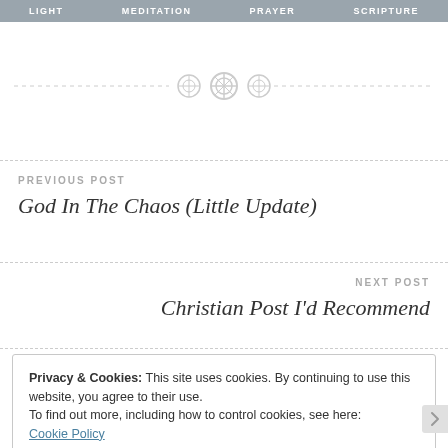LIGHT  MEDITATION  PRAYER  SCRIPTURE
[Figure (illustration): Three overlapping decorative circle/gear icons used as a section divider with dashed lines on either side]
PREVIOUS POST
God In The Chaos (Little Update)
NEXT POST
Christian Post I'd Recommend
Privacy & Cookies: This site uses cookies. By continuing to use this website, you agree to their use.
To find out more, including how to control cookies, see here:
Cookie Policy
Close and accept